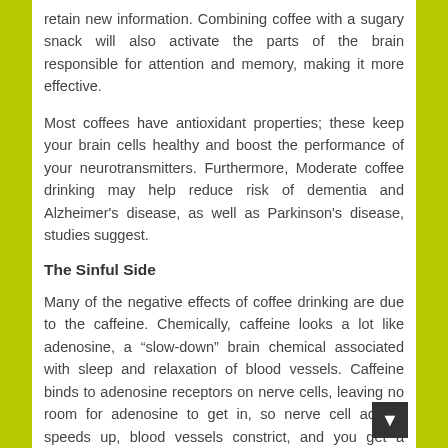retain new information. Combining coffee with a sugary snack will also activate the parts of the brain responsible for attention and memory, making it more effective.
Most coffees have antioxidant properties; these keep your brain cells healthy and boost the performance of your neurotransmitters. Furthermore, Moderate coffee drinking may help reduce risk of dementia and Alzheimer's disease, as well as Parkinson's disease, studies suggest.
The Sinful Side
Many of the negative effects of coffee drinking are due to the caffeine. Chemically, caffeine looks a lot like adenosine, a “slow-down” brain chemical associated with sleep and relaxation of blood vessels. Caffeine binds to adenosine receptors on nerve cells, leaving no room for adenosine to get in, so nerve cell activity speeds up, blood vessels constrict, and you get a caffeine buzz. If consumed heavily, caffeine can lead to irritability, anxiety